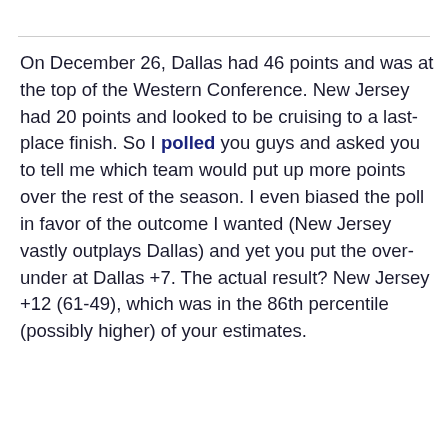On December 26, Dallas had 46 points and was at the top of the Western Conference. New Jersey had 20 points and looked to be cruising to a last-place finish. So I polled you guys and asked you to tell me which team would put up more points over the rest of the season. I even biased the poll in favor of the outcome I wanted (New Jersey vastly outplays Dallas) and yet you put the over-under at Dallas +7. The actual result? New Jersey +12 (61-49), which was in the 86th percentile (possibly higher) of your estimates.